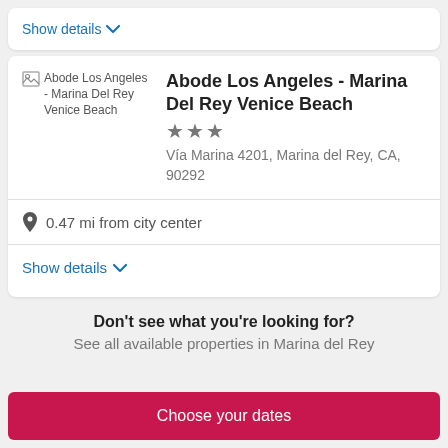Show details
[Figure (illustration): Broken image placeholder for Abode Los Angeles - Marina Del Rey Venice Beach hotel]
Abode Los Angeles - Marina Del Rey Venice Beach
★★★
Vía Marina 4201, Marina del Rey, CA, 90292
0.47 mi from city center
Show details
Don't see what you're looking for?
See all available properties in Marina del Rey
Choose your dates